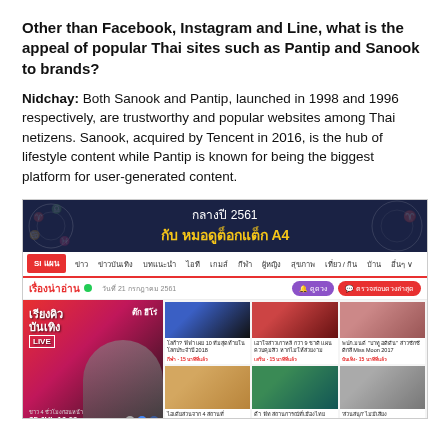Other than Facebook, Instagram and Line, what is the appeal of popular Thai sites such as Pantip and Sanook to brands?
Nidchay: Both Sanook and Pantip, launched in 1998 and 1996 respectively, are trustworthy and popular websites among Thai netizens. Sanook, acquired by Tencent in 2016, is the hub of lifestyle content while Pantip is known for being the biggest platform for user-generated content.
[Figure (screenshot): Screenshot of the Sanook website showing a mid-2018 (กลางปี 2561) banner with Thai zodiac theme, navigation bar with Thai menu items, a 'เรื่องน่าอ่าน' (Interesting Stories) section, a featured article about Thai entertainer 'ต๊ก ฮีโร่' with a live event on 25 Jul 16.00, and a grid of thumbnail articles.]